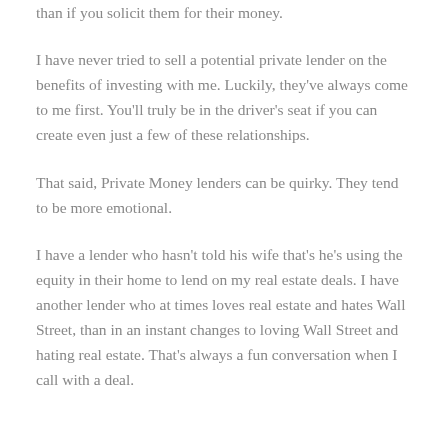than if you solicit them for their money.
I have never tried to sell a potential private lender on the benefits of investing with me. Luckily, they've always come to me first. You'll truly be in the driver's seat if you can create even just a few of these relationships.
That said, Private Money lenders can be quirky. They tend to be more emotional.
I have a lender who hasn't told his wife that's he's using the equity in their home to lend on my real estate deals. I have another lender who at times loves real estate and hates Wall Street, than in an instant changes to loving Wall Street and hating real estate. That's always a fun conversation when I call with a deal.